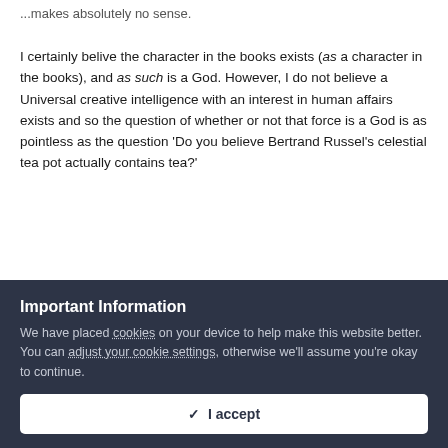...makes absolutely no sense.
I certainly belive the character in the books exists (as a character in the books), and as such is a God. However, I do not believe a Universal creative intelligence with an interest in human affairs exists and so the question of whether or not that force is a God is as pointless as the question 'Do you believe Bertrand Russel's celestial tea pot actually contains tea?'
Quote
Important Information
We have placed cookies on your device to help make this website better. You can adjust your cookie settings, otherwise we'll assume you're okay to continue.
I accept